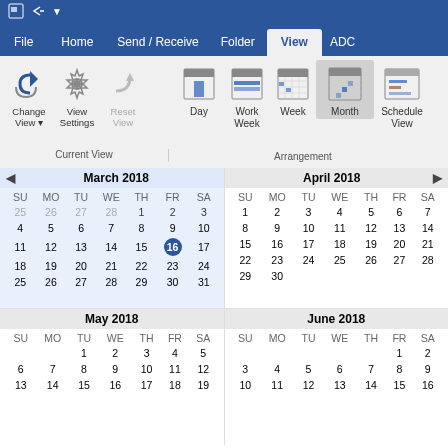[Figure (screenshot): Microsoft Outlook ribbon interface showing View tab selected with calendar view options: Change View, View Settings, Reset View, Day, Work Week, Week, Month (highlighted), Schedule View. Current View group and Arrangement group visible.]
[Figure (screenshot): Mini calendar showing March 2018 with day 16 selected (highlighted in blue), days 25-28 from previous month shown in light blue. Navigation arrows visible. Days SU MO TU WE TH FR SA shown.]
[Figure (screenshot): Mini calendar showing April 2018 with navigation arrows. Days SU MO TU WE TH FR SA shown. Dates 1-30 displayed normally.]
[Figure (screenshot): Mini calendar showing May 2018. Days SU MO TU WE TH FR SA. Starts on TU with 1. Shows weeks through 13-19.]
[Figure (screenshot): Mini calendar showing June 2018. Days SU MO TU WE TH FR SA. Starts on FR with 1. Shows weeks through 10-16.]